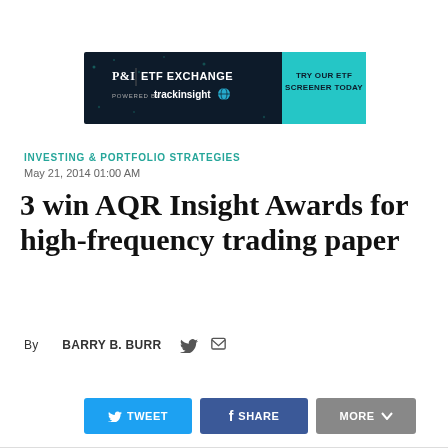[Figure (other): Advertisement banner for P&I ETF Exchange powered by Trackinsight with a teal 'Try our ETF Screener Today' call-to-action button on a dark background]
INVESTING & PORTFOLIO STRATEGIES
May 21, 2014 01:00 AM
3 win AQR Insight Awards for high-frequency trading paper
By BARRY B. BURR
[Figure (other): Social sharing buttons row: TWEET (blue), SHARE (dark blue/Facebook), MORE (gray with dropdown chevron)]